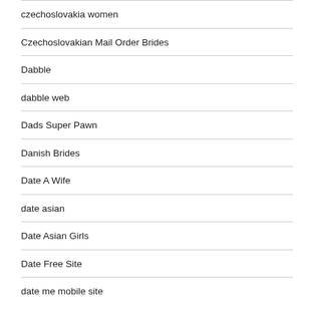czechoslovakia women
Czechoslovakian Mail Order Brides
Dabble
dabble web
Dads Super Pawn
Danish Brides
Date A Wife
date asian
Date Asian Girls
Date Free Site
date me mobile site